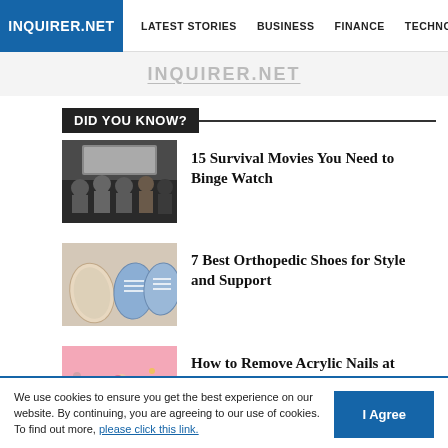INQUIRER.NET | LATEST STORIES | BUSINESS | FINANCE | TECHNOLO
DID YOU KNOW?
[Figure (photo): Group of young people sitting on a couch watching a movie in a dark room]
15 Survival Movies You Need to Binge Watch
[Figure (photo): Orthopedic shoe insoles and a pair of blue sneakers laid flat on white background]
7 Best Orthopedic Shoes for Style and Support
[Figure (photo): Person painting toenails on a pink background with nail care accessories around]
How to Remove Acrylic Nails at Home
We use cookies to ensure you get the best experience on our website. By continuing, you are agreeing to our use of cookies. To find out more, please click this link.